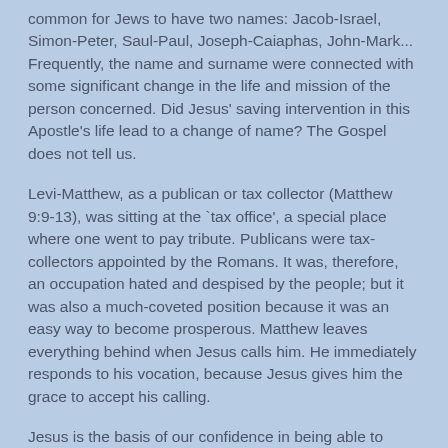common for Jews to have two names: Jacob-Israel, Simon-Peter, Saul-Paul, Joseph-Caiaphas, John-Mark... Frequently, the name and surname were connected with some significant change in the life and mission of the person concerned. Did Jesus' saving intervention in this Apostle's life lead to a change of name? The Gospel does not tell us.
Levi-Matthew, as a publican or tax collector (Matthew 9:9-13), was sitting at the `tax office', a special place where one went to pay tribute. Publicans were tax-collectors appointed by the Romans. It was, therefore, an occupation hated and despised by the people; but it was also a much-coveted position because it was an easy way to become prosperous. Matthew leaves everything behind when Jesus calls him. He immediately responds to his vocation, because Jesus gives him the grace to accept his calling.
Jesus is the basis of our confidence in being able to change, provided we cooperate with His grace, no matter how unworthy our previous conduct may have been. And He is also the source of the confidence we need in order to be apostolic--helping others to be converted and seek holiness